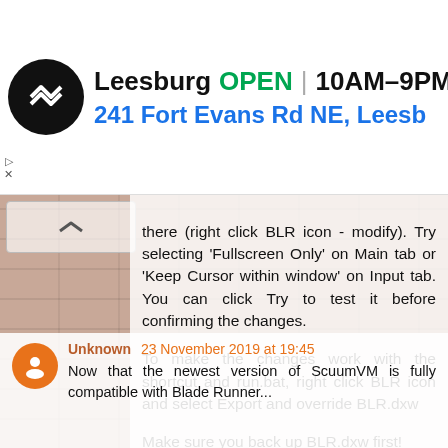[Figure (screenshot): Advertisement banner: Leesburg store, OPEN 10AM-9PM, 241 Fort Evans Rd NE, Leesb]
there (right click BLR icon - modify). Try selecting 'Fullscreen Only' on Main tab or 'Keep Cursor within window' on Input tab. You can click Try to test it before confirming the changes.

To make the changes work with the shortcut and run.bat, right click BLR icon and select Export and override BLR.dxw

Make sure you back up BLR.dxw first!
Reply
Unknown 23 November 2019 at 19:45
Now that the newest version of ScuumVM is fully compatible with Blade Runner...